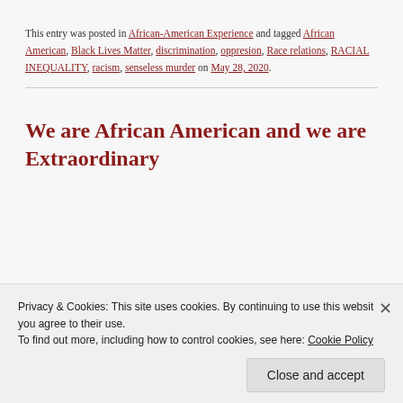This entry was posted in African-American Experience and tagged African American, Black Lives Matter, discrimination, oppresion, Race relations, RACIAL INEQUALITY, racism, senseless murder on May 28, 2020.
We are African American and we are Extraordinary
Privacy & Cookies: This site uses cookies. By continuing to use this website, you agree to their use.
To find out more, including how to control cookies, see here: Cookie Policy